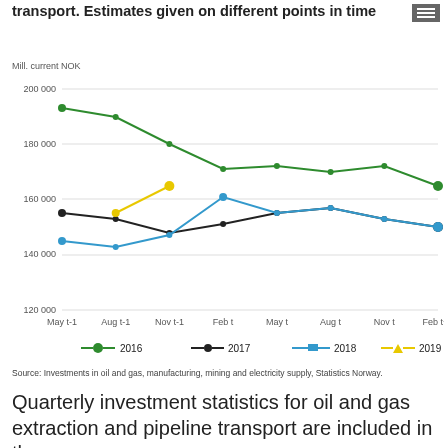transport. Estimates given on different points in time
[Figure (line-chart): transport. Estimates given on different points in time]
Source: Investments in oil and gas, manufacturing, mining and electricity supply, Statistics Norway.
Quarterly investment statistics for oil and gas extraction and pipeline transport are included in the survey